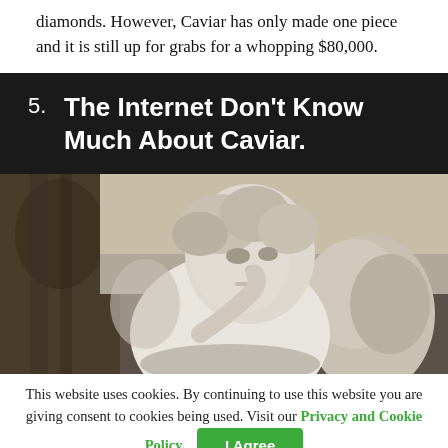diamonds. However, Caviar has only made one piece and it is still up for grabs for a whopping $80,000.
5.  The Internet Don't Know Much About Caviar.
[Figure (photo): A white marble cherub angel statue with finger to lips in a shushing gesture, with wings visible and ornate background]
This website uses cookies. By continuing to use this website you are giving consent to cookies being used. Visit our Privacy and Cookie Policy.  I Agree